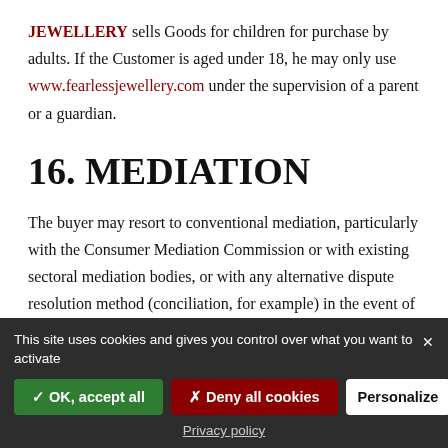JEWELLERY sells Goods for children for purchase by adults. If the Customer is aged under 18, he may only use www.fearlessjewellery.com under the supervision of a parent or a guardian.
16. MEDIATION
The buyer may resort to conventional mediation, particularly with the Consumer Mediation Commission or with existing sectoral mediation bodies, or with any alternative dispute resolution method (conciliation, for example) in the event of a dispute.
This site uses cookies and gives you control over what you want to activate
✓ OK, accept all   ✗ Deny all cookies   Personalize
Privacy policy